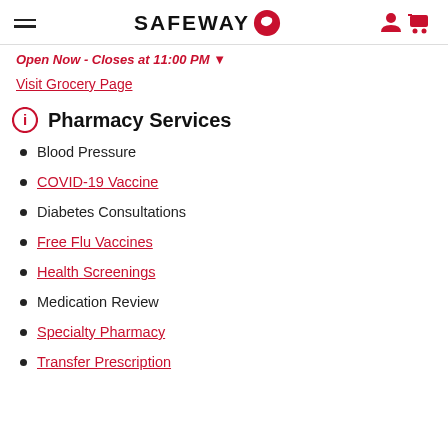SAFEWAY
Open Now - Closes at 11:00 PM
Visit Grocery Page
Pharmacy Services
Blood Pressure
COVID-19 Vaccine
Diabetes Consultations
Free Flu Vaccines
Health Screenings
Medication Review
Specialty Pharmacy
Transfer Prescription